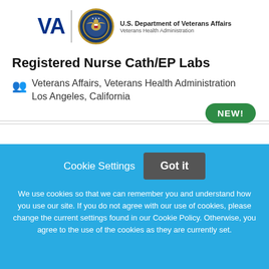[Figure (logo): U.S. Department of Veterans Affairs logo with VA text, seal, and Veterans Health Administration text]
Registered Nurse Cath/EP Labs
Veterans Affairs, Veterans Health Administration
Los Angeles, California
NEW!
Cookie Settings   Got it
We use cookies so that we can remember you and understand how you use our site. If you do not agree with our use of cookies, please change the current settings found in our Cookie Policy. Otherwise, you agree to the use of the cookies as they are currently set.